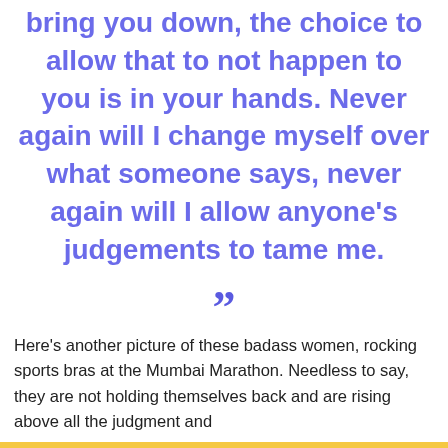bring you down, the choice to allow that to not happen to you is in your hands. Never again will I change myself over what someone says, never again will I allow anyone's judgements to tame me.
Here's another picture of these badass women, rocking sports bras at the Mumbai Marathon. Needless to say, they are not holding themselves back and are rising above all the judgment and